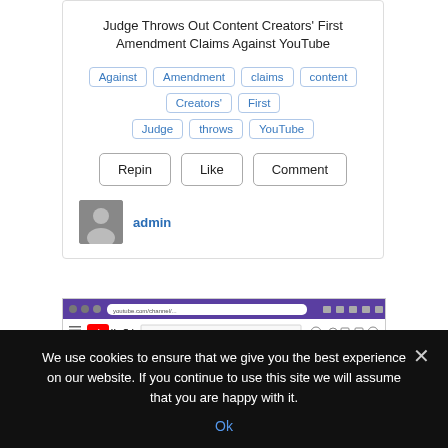Judge Throws Out Content Creators' First Amendment Claims Against YouTube
Against
Amendment
claims
content
Creators'
First
Judge
throws
YouTube
Repin   Like   Comment
admin
[Figure (screenshot): YouTube channel page for 'ARK Invest' showing browser chrome, YouTube header with search bar, channel logo, channel name, subscriber count, Subscribe button, and navigation tabs: HOME, VIDEOS, PLAYLISTS, COMMUNITY, CHANNELS.]
We use cookies to ensure that we give you the best experience on our website. If you continue to use this site we will assume that you are happy with it.
Ok